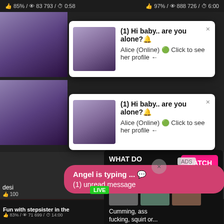85% / 👁 83 793 / ⏱ 0:58   97% / 👁 888 726 / ⏱ 6:00
[Figure (screenshot): Adult content video thumbnail top left]
[Figure (screenshot): Adult content video thumbnail top right]
(1) Hi baby.. are you alone?🔔
Alice (Online) 🟢 Click to see her profile ←
(1) Hi baby.. are you alone?🔔
Alice (Online) 🟢 Click to see her profile ←
Angel is typing ... 💬
(1) unread message
ADS
desi
👍 100
[Figure (screenshot): Adult content video thumbnail bottom left - Fun with stepsister in the]
WHAT DO YOU WANT?
● Online
Cumming, ass fucking, squirt or...
• ADS
Fun with stepsister in the
👍 83% / 👁 71 699 / ⏱ 14:00   Desi Rajasthani INDIAN
👍 85% / 👁 298 010 / ⏱ 0:38